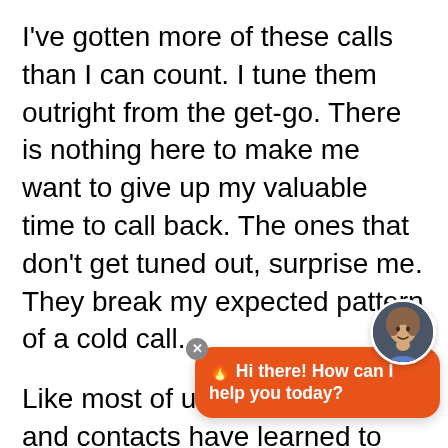I've gotten more of these calls than I can count. I tune them outright from the get-go. There is nothing here to make me want to give up my valuable time to call back. The ones that don't get tuned out, surprise me. They break my expected pattern of a cold call.
Like most of us, our prospects and contacts have learned to tune out these messages too. To avoid getting tuned out, surprise your prospects, break their pattern,
Use humor, a few off the wall, and
[Figure (other): Chat widget overlay with orange bubble saying 'Hi there! How can I help you today?' with a flame emoji, close button, and avatar of a woman in the top right corner.]